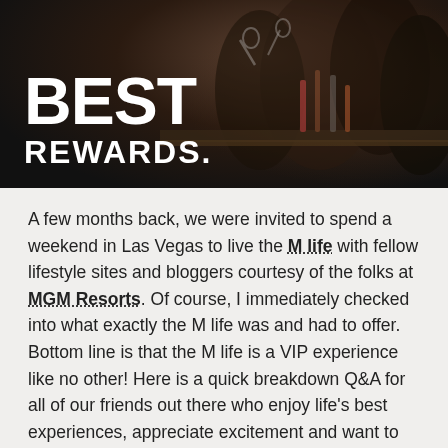[Figure (photo): Dark bar/lounge scene with silhouetted people celebrating. Bold white text overlay reads 'BEST REWARDS.' in large block letters on the lower left.]
A few months back, we were invited to spend a weekend in Las Vegas to live the M life with fellow lifestyle sites and bloggers courtesy of the folks at MGM Resorts. Of course, I immediately checked into what exactly the M life was and had to offer. Bottom line is that the M life is a VIP experience like no other! Here is a quick breakdown Q&A for all of our friends out there who enjoy life's best experiences, appreciate excitement and want to know more about the M life.
What is M life?
This isn't just a player's club. You'll be rewarded for